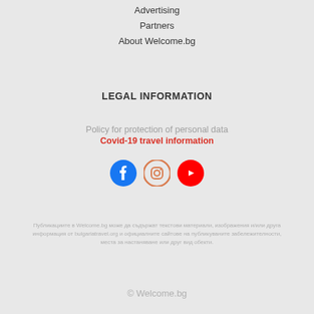Advertising
Partners
About Welcome.bg
LEGAL INFORMATION
Policy for protection of personal data
Covid-19 travel information
[Figure (logo): Social media icons: Facebook, Instagram, YouTube]
Публикациите в Welcome.bg може да съдържат текстови материали, изображения и/или друга информация от bulgariatravel.org и официалните сайтове на публикуваните забележителности, места за настаняване или друг вид обекти.
© Welcome.bg